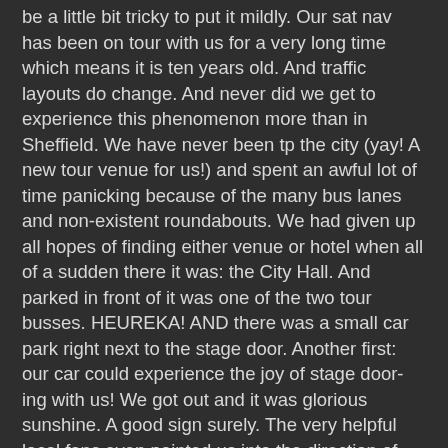be a little bit tricky to put it mildly. Our sat nav has been on tour with us for a very long time which means it is ten years old. And traffic layouts do change. And never did we get to experience this phenomenon more than in Sheffield. We have never been tp the city (yay! A new tour venue for us!) and spent an awful lot of time panicking because of the many bus lanes and non-existent roundabouts. We had given up all hopes of finding either venue or hotel when all of a sudden there it was: the City Hall. And parked in front of it was one of the two tour busses. HEUREKA! AND there was a small car park right next to the stage door. Another first: our car could experience the joy of stage door-ing with us! We got out and it was glorious sunshine. A good sign surely. The very helpful local fans even pointed us into the direction of our hotel (thank you again!) but once you are at a stage door you don't leave. It's a olden rule. So we waited. And waited. And then waited some more. The weather changed from sunshine to small clouds to bigger clouds and then grey skies and cold wind. We got